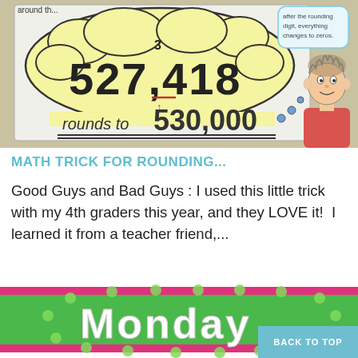[Figure (photo): Photo of a hand-drawn educational math anchor chart showing rounding. A yellow thought-bubble cloud shape contains the number 527,418 with a superscript 3, underlined at the 7, with 'rounds to 530,000' written below. A cartoon boy with spiky hair is drawn on the right. A speech bubble in the upper right reads text about changing digits to zeros after rounding.]
MATH TRICK FOR ROUNDING...
Good Guys and Bad Guys : I used this little trick with my 4th graders this year, and they LOVE it!  I learned it from a teacher friend,...
[Figure (photo): Colorful decorative image with pink and green polka-dot design spelling 'Monday' in white letters on a green background with pink border.]